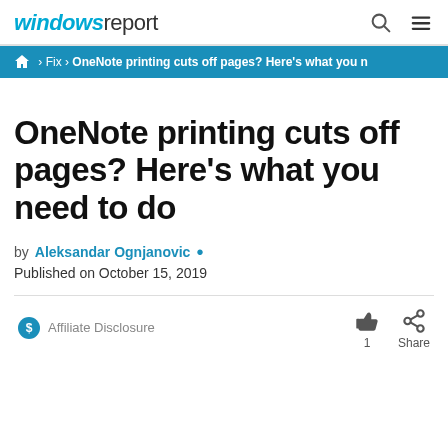windows report
Fix › OneNote printing cuts off pages? Here's what you n
OneNote printing cuts off pages? Here's what you need to do
by Aleksandar Ognjanovic •
Published on October 15, 2019
Affiliate Disclosure